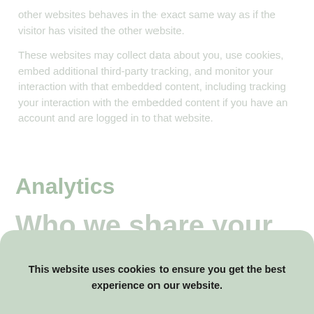other websites behaves in the exact same way as if the visitor has visited the other website.
These websites may collect data about you, use cookies, embed additional third-party tracking, and monitor your interaction with that embedded content, including tracking your interaction with the embedded content if you have an account and are logged in to that website.
Analytics
Who we share your data with
Unless you use the social buttons on my site, I don't share
This website uses cookies to ensure you get the best experience on our website.